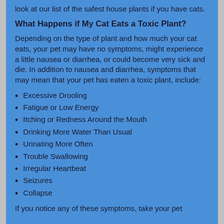look at our list of the safest house plants if you have cats.
What Happens if My Cat Eats a Toxic Plant?
Depending on the type of plant and how much your cat eats, your pet may have no symptoms, might experience a little nausea or diarrhea, or could become very sick and die. In addition to nausea and diarrhea, symptoms that may mean that your pet has eaten a toxic plant, include:
Excessive Drooling
Fatigue or Low Energy
Itching or Redness Around the Mouth
Drinking More Water Than Usual
Urinating More Often
Trouble Swallowing
Irregular Heartbeat
Seizures
Collapse
If you notice any of these symptoms, take your pet